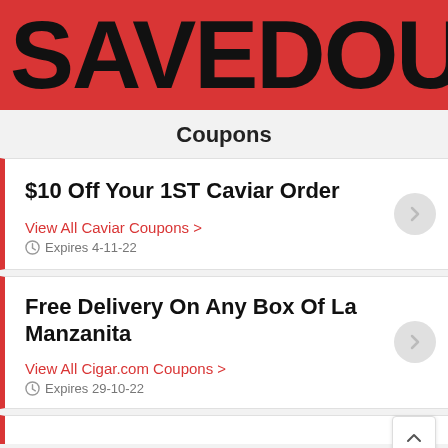SAVEDOUB
Coupons
$10 Off Your 1ST Caviar Order
View All Caviar Coupons >
Expires 4-11-22
Free Delivery On Any Box Of La Manzanita
View All Cigar.com Coupons >
Expires 29-10-22